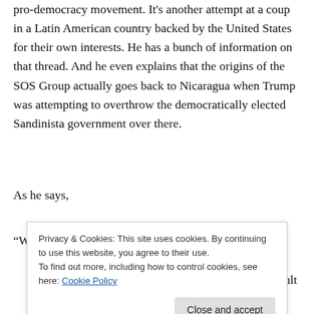pro-democracy movement. It's another attempt at a coup in a Latin American country backed by the United States for their own interests. He has a bunch of information on that thread. And he even explains that the origins of the SOS Group actually goes back to Nicaragua when Trump was attempting to overthrow the democratically elected Sandinista government over there.
As he says,
“Wh...
Privacy & Cookies: This site uses cookies. By continuing to use this website, you agree to their use.
To find out more, including how to control cookies, see here: Cookie Policy
Here he is praising a violent assault on the